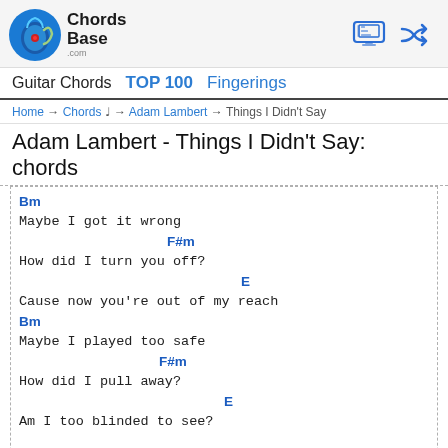ChordsBase.com - Guitar Chords  TOP 100  Fingerings
Home → Chords 𝄞 → Adam Lambert → Things I Didn't Say
Adam Lambert - Things I Didn't Say: chords
Bm
Maybe I got it wrong
                    F#m
How did I turn you off?
                              E
Cause now you're out of my reach
Bm
Maybe I played too safe
                   F#m
How did I pull away?
                         E
Am I too blinded to see?

PRE-Chorus
              B